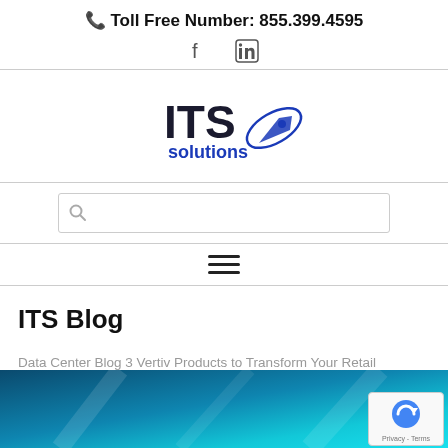📞 Toll Free Number: 855.399.4595
[Figure (logo): ITS Solutions logo with stylized satellite/orbit graphic in blue and dark navy]
[Figure (screenshot): Search input box with magnifying glass icon]
[Figure (infographic): Hamburger menu icon (three horizontal lines)]
ITS Blog
Data Center Blog 3 Vertiv Products to Transform Your Retail Business
[Figure (photo): Bottom portion of a data center or retail store interior with teal/blue lighting]